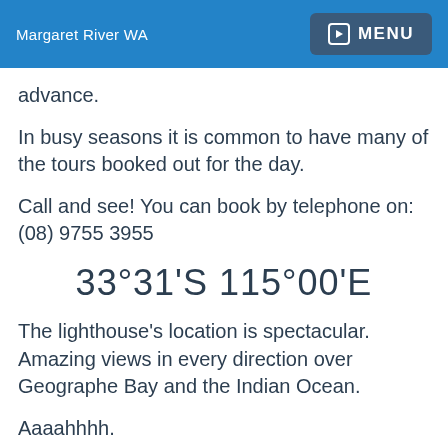Margaret River WA | MENU
advance.
In busy seasons it is common to have many of the tours booked out for the day.
Call and see! You can book by telephone on: (08) 9755 3955
33°31'S 115°00'E
The lighthouse's location is spectacular. Amazing views in every direction over Geographe Bay and the Indian Ocean.
Aaaahhhh.